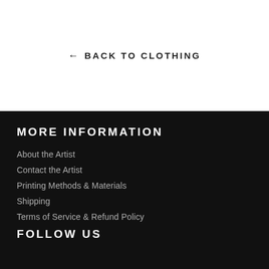← BACK TO CLOTHING
MORE INFORMATION
About the Artist
Contact the Artist
Printing Methods & Materials
Shipping
Terms of Service & Refund Policy
FOLLOW US